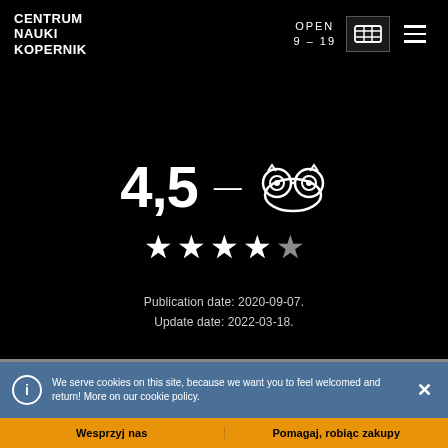CENTRUM NAUKI KOPERNIK   OPEN 9 – 19
[Figure (infographic): Rating display showing 4,5 with TripAdvisor owl logo and 4.5 star rating (4 full stars and 1 half star) on black background]
Publication date: 2020-09-07.
Update date: 2022-03-18.
We serve cookies on this site, because we want you to feel welcomed and return! More on our cookie policy.
Wesprzyj nas
Pomagaj, robiąc zakupy